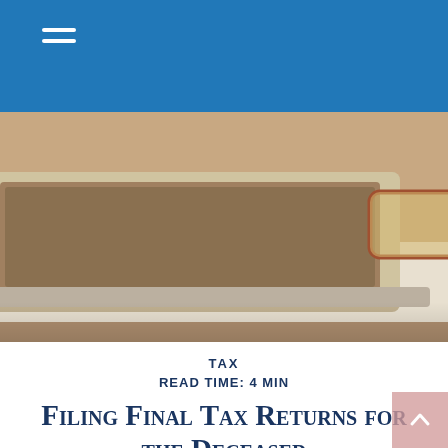[Figure (photo): Blue navigation bar with hamburger menu icon (three horizontal white lines) on left side]
[Figure (photo): Hero image showing a laptop, stacked papers/documents, and a pair of brown-rimmed glasses resting on top, close-up shot with shallow depth of field]
TAX
READ TIME: 4 MIN
Filing Final Tax Returns for the Deceased
When a family member passes away, there are many decisions that need to be made and many emotions to handle. The last thing anyone thinks about is taxes.